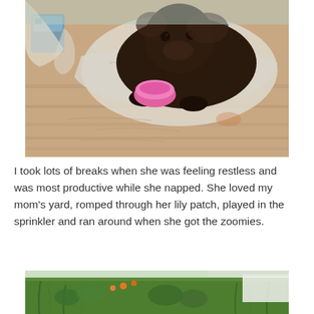[Figure (photo): A dark brown/chocolate Newfoundland puppy lying on a wooden floor on top of a white cloth/sheet, with a pink water bowl in front of it. A blue container is visible in the background top-left.]
I took lots of breaks when she was feeling restless and was most productive while she napped. She loved my mom's yard, romped through her lily patch, played in the sprinkler and ran around when she got the zoomies.
[Figure (photo): A garden/yard scene showing green plants, tall grass, and lily plants with orange flowers visible, with a white fence/building in the background.]